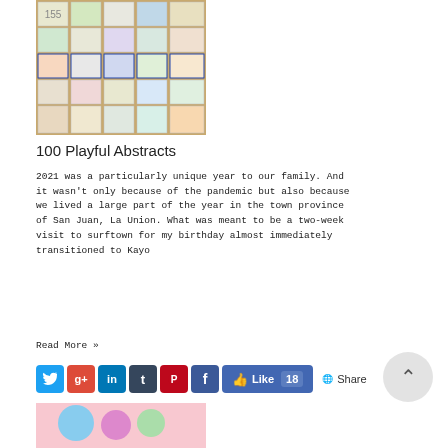[Figure (photo): Collage of 100 small abstract artwork squares arranged in a grid, colorful on various backgrounds]
100 Playful Abstracts
2021 was a particularly unique year to our family. And it wasn't only because of the pandemic but also because we lived a large part of the year in the town province of San Juan, La Union. What was meant to be a two-week visit to surftown for my birthday almost immediately transitioned to Kayo
Read More »
[Figure (photo): Social media sharing buttons: Twitter, Google+, LinkedIn, Tumblr, Pinterest, Facebook, Like 18, Share]